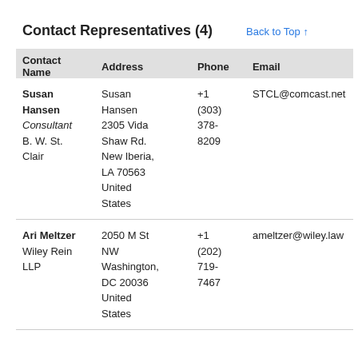Contact Representatives (4)
| Contact Name | Address | Phone | Email |
| --- | --- | --- | --- |
| Susan Hansen
Consultant
B. W. St. Clair | Susan Hansen
2305 Vida Shaw Rd.
New Iberia, LA 70563
United States | +1 (303) 378-8209 | STCL@comcast.net |
| Ari Meltzer
Wiley Rein LLP | 2050 M St NW
Washington, DC 20036
United States | +1 (202) 719-7467 | ameltzer@wiley.law |